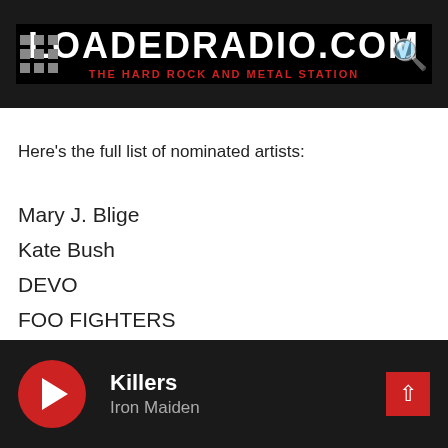LOADEDRADIO.COM – THE HARD ROCK AND METAL STATION
Here's the full list of nominated artists:
Mary J. Blige
Kate Bush
DEVO
FOO FIGHTERS
THE GO-GO'S
IRON MAIDEN
Jay-Z
Chaka Khan
Carole King
Fela Kuti
Killers – Iron Maiden